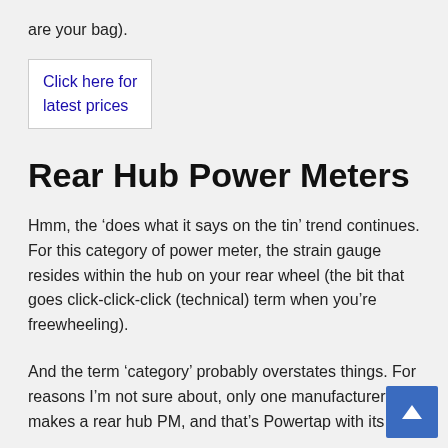are your bag).
Click here for latest prices
Rear Hub Power Meters
Hmm, the ‘does what it says on the tin’ trend continues. For this category of power meter, the strain gauge resides within the hub on your rear wheel (the bit that goes click-click-click (technical) term when you’re freewheeling).
And the term ‘category’ probably overstates things. For reasons I’m not sure about, only one manufacturer makes a rear hub PM, and that’s Powertap with its